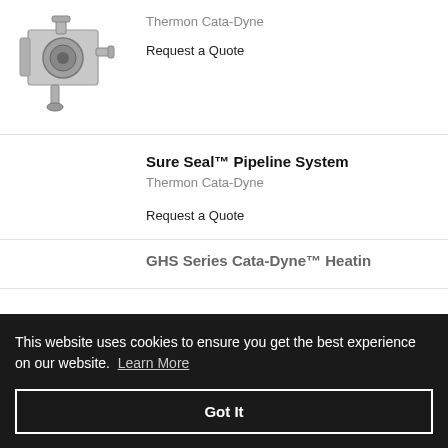[Figure (photo): Industrial catalytic heater unit — grey metal enclosure with fittings and pipe connection]
Thermon Cata-Dyne
Request a Quote
Sure Seal™ Pipeline System
Thermon Cata-Dyne
Request a Quote
GHS Series Cata-Dyne™ Heatin…
This website uses cookies to ensure you get the best experience on our website.  Learn More
Got It